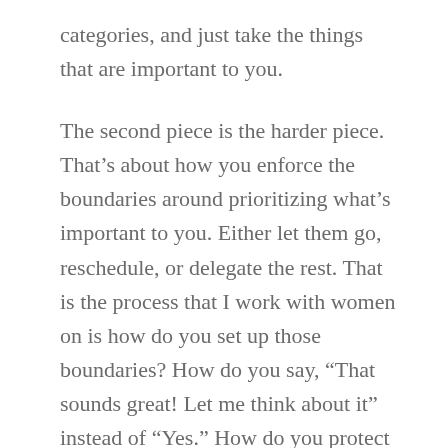categories, and just take the things that are important to you.
The second piece is the harder piece. That's about how you enforce the boundaries around prioritizing what's important to you. Either let them go, reschedule, or delegate the rest. That is the process that I work with women on is how do you set up those boundaries? How do you say, “That sounds great! Let me think about it” instead of “Yes.” How do you protect your time? How do you get clear on how to prioritize things for other people that you love?
So that’s kind of the basic structural format of